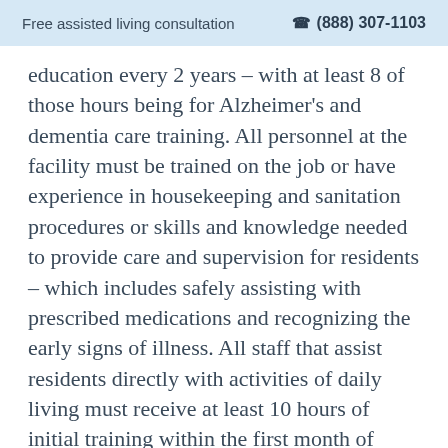Free assisted living consultation  ☎ (888) 307-1103
education every 2 years – with at least 8 of those hours being for Alzheimer's and dementia care training. All personnel at the facility must be trained on the job or have experience in housekeeping and sanitation procedures or skills and knowledge needed to provide care and supervision for residents – which includes safely assisting with prescribed medications and recognizing the early signs of illness. All staff that assist residents directly with activities of daily living must receive at least 10 hours of initial training within the first month of employment and at least 4 additional hours